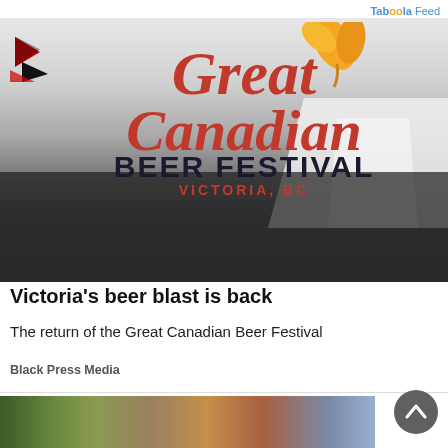Taboola Feed
[Figure (photo): Great Canadian Beer Festival logo with red script text 'Great Canadian' and bold black text 'BEER FESTIVAL', subtitle 'VICTORIA, BC' in red, with a golden maple leaf/hop illustration, overlaid on a crowd photo of festival-goers under white tents]
Victoria's beer blast is back
The return of the Great Canadian Beer Festival
Black Press Media
[Figure (photo): Partial view of a building with trees and a flag, second article image]